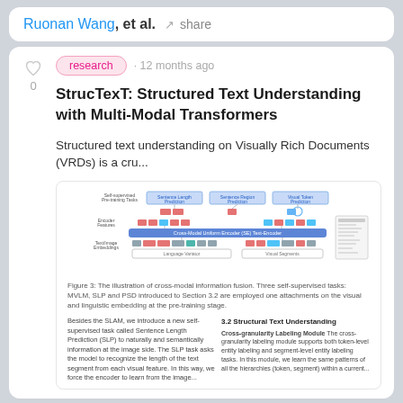Ruonan Wang, et al. · share
research · 12 months ago
StrucTexT: Structured Text Understanding with Multi-Modal Transformers
Structured text understanding on Visually Rich Documents (VRDs) is a cru...
[Figure (schematic): Architecture diagram of StrucTexT model showing Self-supervised Pre-training Tasks, Sentence Length Prediction, Sentence Region Prediction, Cross-Modal Pre-training with Cross-Modal Uniform Encoder, Language Variator and Visual Segments components with red and blue blocks.]
Figure 3: The illustration of cross-modal information fusion. Three self-supervised tasks: MVLM, SLP and PSD introduced to Section 3.2 are employed one attachments on the visual and linguistic embedding at the pre-training stage.
Besides the SLAM, we introduce a new self-supervised task called Sentence Length Prediction (SLP) to naturally and semantically information at the image side. The SLP task asks the model to recognize the length of the text segment from each visual feature. In this way, we force the encoder to learn from the image...
3.2 Structural Text Understanding